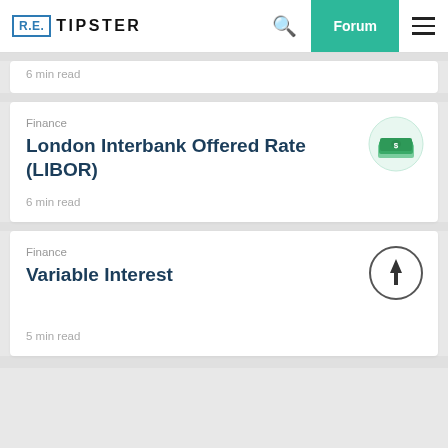R.E. TIPSTER — Forum
6 min read
Finance
London Interbank Offered Rate (LIBOR)
6 min read
Finance
Variable Interest
5 min read